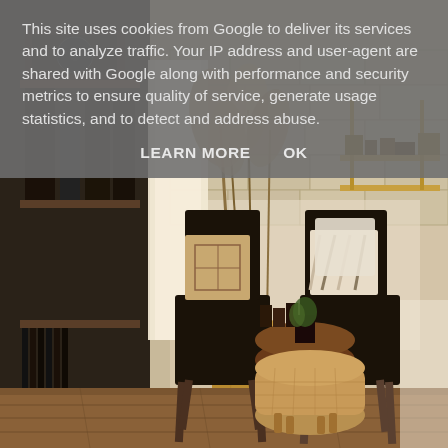[Figure (photo): Interior room photo showing a cozy lounge space with two dark metal chairs with patterned cushions, a round wooden side table, a woven pouf/ottoman, tall dried pampas grass in a wicker basket, a bookshelf with audio equipment on the left, floating brass shelves on a stone/brick wall, and wooden plank flooring. Warm natural light from a window.]
This site uses cookies from Google to deliver its services and to analyze traffic. Your IP address and user-agent are shared with Google along with performance and security metrics to ensure quality of service, generate usage statistics, and to detect and address abuse.
LEARN MORE    OK